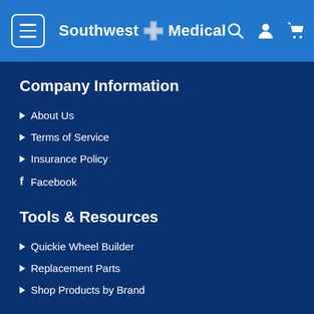Southwest Medical
Company Information
About Us
Terms of Service
Insurance Policy
Facebook
Tools & Resources
Quickie Wheel Builder
Replacement Parts
Shop Products by Brand